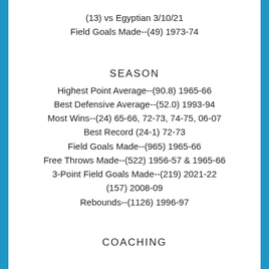(13) vs Egyptian 3/10/21
Field Goals Made--(49) 1973-74
SEASON
Highest Point Average--(90.8) 1965-66
Best Defensive Average--(52.0) 1993-94
Most Wins--(24) 65-66, 72-73, 74-75, 06-07
Best Record (24-1) 72-73
Field Goals Made--(965) 1965-66
Free Throws Made--(522) 1956-57 & 1965-66
3-Point Field Goals Made--(219) 2021-22
(157) 2008-09
Rebounds--(1126) 1996-97
COACHING